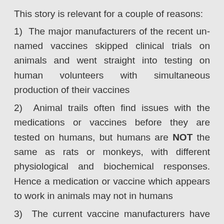This story is relevant for a couple of reasons:
1)  The major manufacturers of the recent unnamed vaccines skipped clinical trials on animals and went straight into testing on human volunteers with simultaneous production of their vaccines
2)  Animal trails often find issues with the medications or vaccines before they are tested on humans, but humans are NOT the same as rats or monkeys, with different physiological and biochemical responses. Hence a medication or vaccine which appears to work in animals may not in humans
3)  The current vaccine manufacturers have documented their "Phase 3 clinical trials" as still